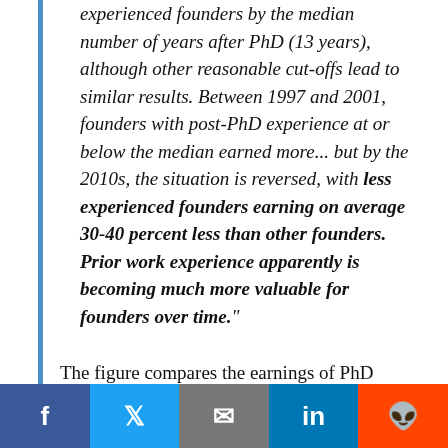experienced founders by the median number of years after PhD (13 years), although other reasonable cut-offs lead to similar results. Between 1997 and 2001, founders with post-PhD experience at or below the median earned more... but by the 2010s, the situation is reversed, with less experienced founders earning on average 30-40 percent less than other founders. Prior work experience apparently is becoming much more valuable for founders over time."
The figure compares the earnings of PhD founders with below-median and above-median work